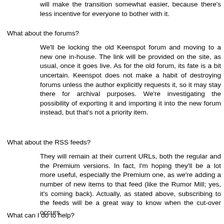will make the transition somewhat easier, because there's less incentive for everyone to bother with it.
What about the forums?
We'll be locking the old Keenspot forum and moving to a new one in-house. The link will be provided on the site, as usual, once it goes live. As for the old forum, its fate is a bit uncertain. Keenspot does not make a habit of destroying forums unless the author explicitly requests it, so it may stay there for archival purposes. We're investigating the possibility of exporting it and importing it into the new forum instead, but that's not a priority item.
What about the RSS feeds?
They will remain at their current URLs, both the regular and the Premium versions. In fact, I'm hoping they'll be a lot more useful, especially the Premium one, as we're adding a number of new items to that feed (like the Rumor Mill; yes, it's coming back). Actually, as stated above, subscribing to the feeds will be a great way to know when the cut-over occurs.
What can I do to help?